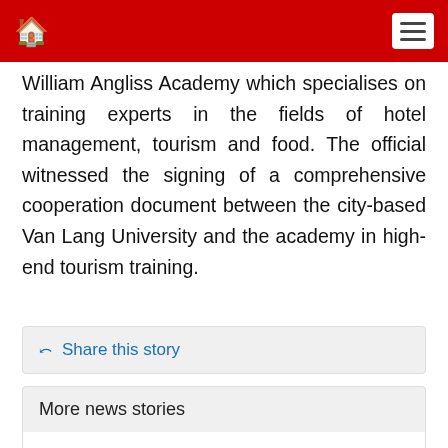Home | Menu
William Angliss Academy which specialises on training experts in the fields of hotel management, tourism and food. The official witnessed the signing of a comprehensive cooperation document between the city-based Van Lang University and the academy in high-end tourism training.
Share this story
More news stories
Vietnam values relations with Germany: Deputy PM (Dec 05, 2019 22:10:24)
9th ASEAN Marine Forum opens in Da Nang (Dec 05, 2019 17:23:02)